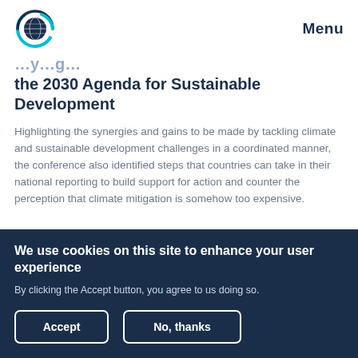[Figure (logo): Circular globe logo with dark blue and cyan/teal colors, representing a global organization]
Menu
…the 2030 Agenda for Sustainable Development
Highlighting the synergies and gains to be made by tackling climate and sustainable development challenges in a coordinated manner, the conference also identified steps that countries can take in their national reporting to build support for action and counter the perception that climate mitigation is somehow too expensive.
We use cookies on this site to enhance your user experience
By clicking the Accept button, you agree to us doing so.
Accept
No, thanks